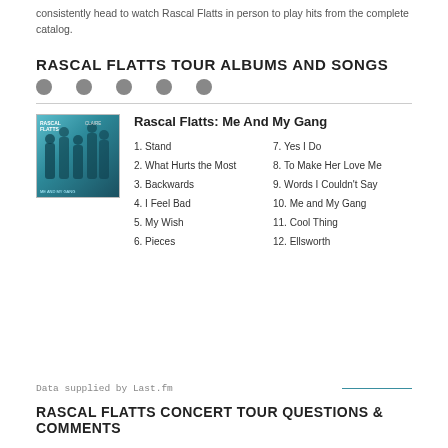consistently head to watch Rascal Flatts in person to play hits from the complete catalog.
RASCAL FLATTS TOUR ALBUMS AND SONGS
[Figure (other): Five grey circle dots in a row (navigation pagination dots)]
[Figure (photo): Album cover for Rascal Flatts: Me And My Gang showing band members in a teal/blue toned photo]
Rascal Flatts: Me And My Gang
1. Stand
2. What Hurts the Most
3. Backwards
4. I Feel Bad
5. My Wish
6. Pieces
7. Yes I Do
8. To Make Her Love Me
9. Words I Couldn't Say
10. Me and My Gang
11. Cool Thing
12. Ellsworth
Data supplied by Last.fm
RASCAL FLATTS CONCERT TOUR QUESTIONS & COMMENTS